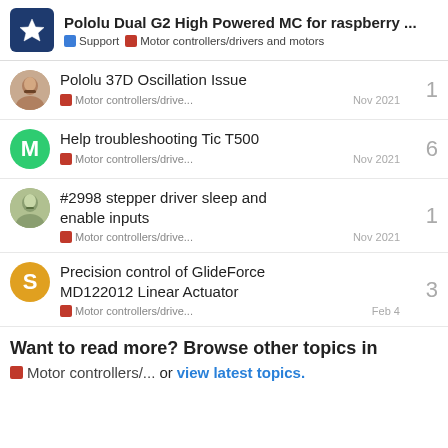Pololu Dual G2 High Powered MC for raspberry ... | Support | Motor controllers/drivers and motors
Pololu 37D Oscillation Issue | Motor controllers/drive... | Nov 2021 | replies: 1
Help troubleshooting Tic T500 | Motor controllers/drive... | Nov 2021 | replies: 6
#2998 stepper driver sleep and enable inputs | Motor controllers/drive... | Nov 2021 | replies: 1
Precision control of GlideForce MD122012 Linear Actuator | Motor controllers/drive... | Feb 4 | replies: 3
Want to read more? Browse other topics in Motor controllers/... or view latest topics.